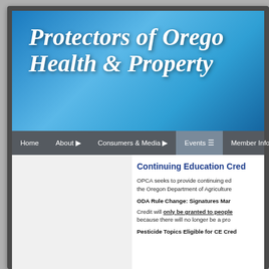Protectors of Oregon Health & Property
Home | About | Consumers & Media | Events | Member Info
Continuing Education Credit
OPCA seeks to provide continuing education credits approved by the Oregon Department of Agriculture.
ODA Rule Change: Signatures Mar
Credit will only be granted to people because there will no longer be a pro
Pesticide Topics Eligible for CE Credit